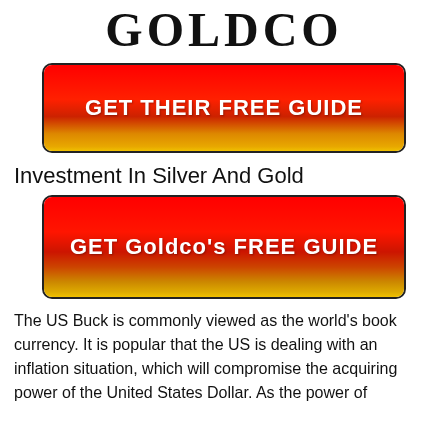GOLDCO
[Figure (other): Red and gold gradient button reading GET THEIR FREE GUIDE]
Investment In Silver And Gold
[Figure (other): Red and gold gradient button reading GET Goldco's FREE GUIDE]
The US Buck is commonly viewed as the world's book currency. It is popular that the US is dealing with an inflation situation, which will compromise the acquiring power of the United States Dollar. As the power of